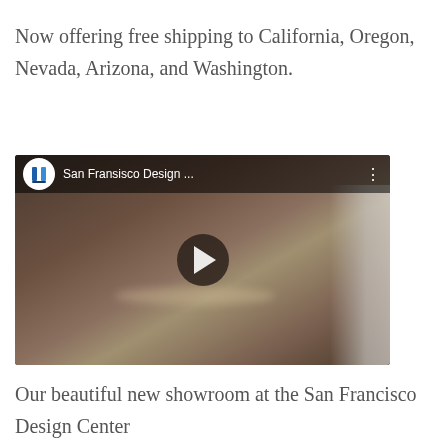Now offering free shipping to California, Oregon, Nevada, Arizona, and Washington.
[Figure (screenshot): YouTube video embed showing a kitchen/showroom scene with a dark wood cabinet/counter. The video has a YouTube-style top bar with a logo circle showing two blue vertical bars, title 'San Fransisco Design ...', and a three-dot menu icon. A large circular dark play button with a white triangle is centered on the video.]
Our beautiful new showroom at the San Francisco Design Center